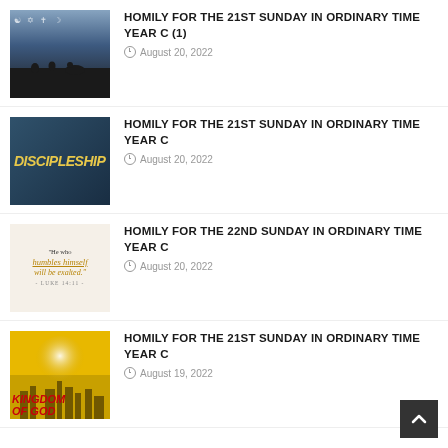[Figure (photo): Thumbnail image with religious symbols and silhouette of people]
HOMILY FOR THE 21ST SUNDAY IN ORDINARY TIME YEAR C (1)
August 20, 2022
[Figure (photo): Thumbnail with DISCIPLESHIP text on dark blue background]
HOMILY FOR THE 21ST SUNDAY IN ORDINARY TIME YEAR C
August 20, 2022
[Figure (photo): Thumbnail with quote: He who humbles himself will be exalted. - LUKE 14:11 -]
HOMILY FOR THE 22ND SUNDAY IN ORDINARY TIME YEAR C
August 20, 2022
[Figure (photo): Thumbnail with KINGDOM OF GOD text on golden background]
HOMILY FOR THE 21ST SUNDAY IN ORDINARY TIME YEAR C
August 19, 2022